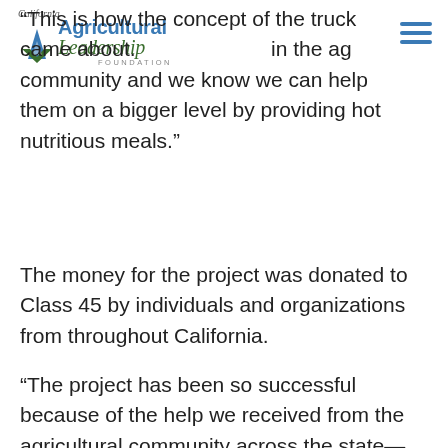California Agricultural Leadership Foundation
“This is how the concept of the truck came about. … in the ag community and we know we can help them on a bigger level by providing hot nutritious meals.”
The money for the project was donated to Class 45 by individuals and organizations from throughout California.
“The project has been so successful because of the help we received from the agricultural community across the state—it’s a real testament to the generosity of people in agriculture and their willingness to help those who are in need,” said Justin Morehead, Class 45.